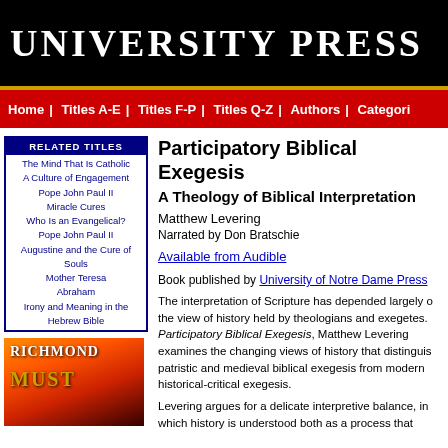UNIVERSITY PRESS
Home | Titles A-E | Titles F-P | Titles Q-Z | Authors | Categories
The Mind That Is Catholic
A Culture of Engagement
Pope John Paul II
Miracle Cures
Who Is an Evangelical?
Pope John Paul II
Augustine and the Cure of Souls
Mother Teresa
Abraham
Irony and Meaning in the Hebrew Bible
[Figure (illustration): Book cover image with flames background, text reading RICHMOND MUST]
Participatory Biblical Exegesis
A Theology of Biblical Interpretation
Matthew Levering
Narrated by Don Bratschie
Available from Audible
Book published by University of Notre Dame Press
The interpretation of Scripture has depended largely on the view of history held by theologians and exegetes. In Participatory Biblical Exegesis, Matthew Levering examines the changing views of history that distinguish patristic and medieval biblical exegesis from modern historical-critical exegesis.
Levering argues for a delicate interpretive balance, in which history is understood both as a process that